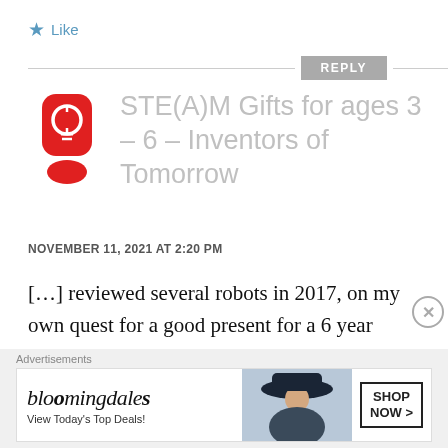★ Like
REPLY
[Figure (logo): Red exclamation mark icon with lightbulb inside, used as avatar for STE(A)M Gifts blog]
STE(A)M Gifts for ages 3 – 6 – Inventors of Tomorrow
NOVEMBER 11, 2021 AT 2:20 PM
[…] reviewed several robots in 2017, on my own quest for a good present for a 6 year
[Figure (illustration): Bloomingdales advertisement banner: 'bloomingdales View Today's Top Deals!' with woman in hat photo and 'SHOP NOW >' button]